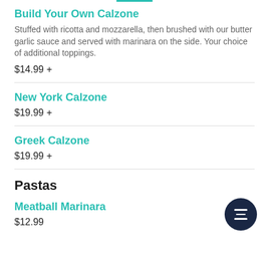Build Your Own Calzone
Stuffed with ricotta and mozzarella, then brushed with our butter garlic sauce and served with marinara on the side. Your choice of additional toppings.
$14.99 +
New York Calzone
$19.99 +
Greek Calzone
$19.99 +
Pastas
Meatball Marinara
$12.99